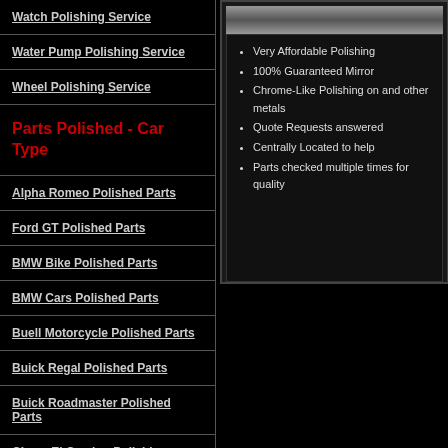Watch Polishing Service
Water Pump Polishing Service
Wheel Polishing Service
Parts Polished - Car Type
Alpha Romeo Polished Parts
Ford GT Polished Parts
BMW Bike Polished Parts
BMW Cars Polished Parts
Buell Motorcycle Polished Parts
Buick Regal Polished Parts
Buick Roadmaster Polished Parts
Chevy El Camino Polishing
Chevy Polished Parts
Chevy Nova Polished Parts
Chevy Truck Polished Parts
Very Affordable Polishing
100% Guaranteed Mirror
Chrome-Like Polishing on and other metals
Quote Requests answered
Centrally Located to help
Parts checked multiple times for quality